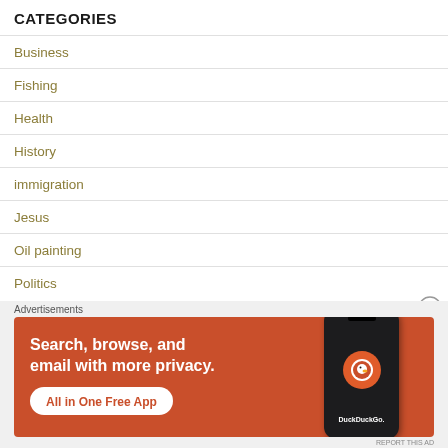CATEGORIES
Business
Fishing
Health
History
immigration
Jesus
Oil painting
Politics
[Figure (infographic): DuckDuckGo advertisement banner with orange background. Text reads 'Search, browse, and email with more privacy. All in One Free App' with a phone graphic and DuckDuckGo logo.]